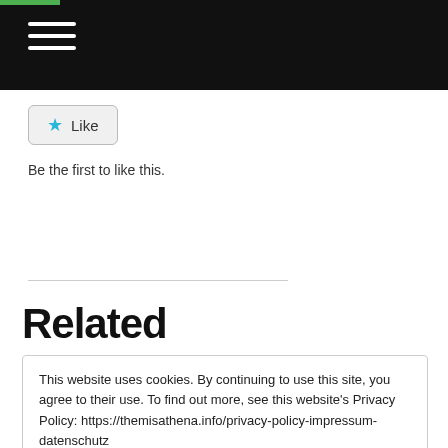Navigation bar with hamburger menu
[Figure (other): Like button with star icon]
Be the first to like this.
Related
This website uses cookies. By continuing to use this site, you agree to their use. To find out more, see this website's Privacy Policy: https://themisathena.info/privacy-policy-impressum-datenschutz
Diese Website verwendet Cookies. Durch die Fortsetzung Ihres Besuchs stimmen Sie der Verwendung zu. Weitere Informationen finden Sie auf der Seite Impressum und Datenschutz: https://themisathena.info/privacy-policy-impressum-datenschutz Privacy & Cookie Policy
Close and accept